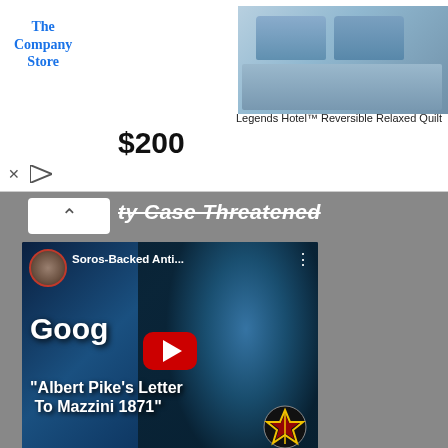[Figure (screenshot): Advertisement banner for The Company Store showing Legends Hotel Reversible Relaxed Quilt priced at $200]
...ty Case Threatened
[Figure (screenshot): YouTube video thumbnail: 'Soros-Backed Anti...' showing text 'Goog Albert Pike's Letter To Mazzini 1871' overlaid on a blue-tinted portrait image, with red YouTube play button]
Amid reports of attempts to disrupt, and even interfere with, the inauguration of Donald Trump, facts are hard to come by. There really is a lot of fake news out there to wade through, but tonight we are going to